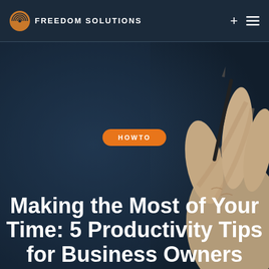FREEDOM SOLUTIONS
[Figure (photo): Close-up photo of a human hand holding a pen against a dark navy blue background, used as hero image for a business productivity article]
HOWTO
Making the Most of Your Time: 5 Productivity Tips for Business Owners